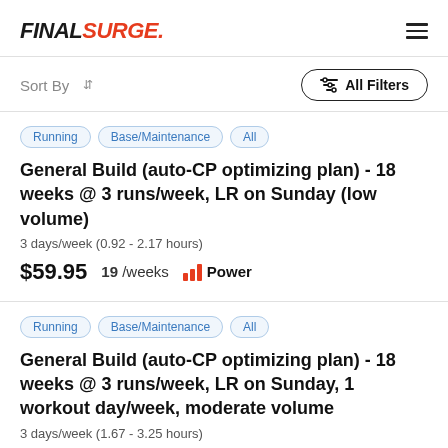FINAL SURGE
Sort By
All Filters
Running  Base/Maintenance  All
General Build (auto-CP optimizing plan) - 18 weeks @ 3 runs/week, LR on Sunday (low volume)
3 days/week (0.92 - 2.17 hours)
$59.95  19 /weeks  Power
Running  Base/Maintenance  All
General Build (auto-CP optimizing plan) - 18 weeks @ 3 runs/week, LR on Sunday, 1 workout day/week, moderate volume
3 days/week (1.67 - 3.25 hours)